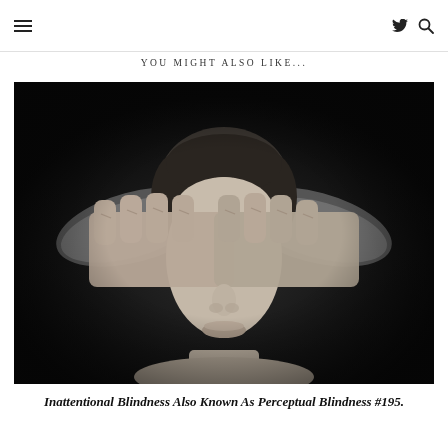☰  𝕏 🔍
YOU MIGHT ALSO LIKE...
[Figure (photo): Black and white photograph of a young woman with dark hair, her eyes covered by two large hands reaching in from both sides of the frame. The background is very dark/black. The image is moody and artistic, depicting the concept of inattentional or perceptual blindness.]
Inattentional Blindness Also Known As Perceptual Blindness #195.